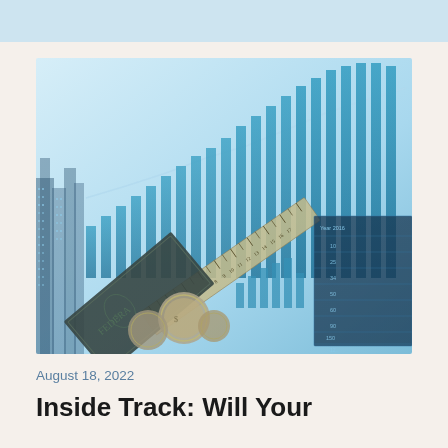[Figure (photo): Financial collage image showing bar charts with upward trending data on a blue-tinted background, overlaid with US dollar bills, coins, a ruler, and a city skyline double exposure. Numbers 1-17 visible on ruler, year 2016 visible on a document in the background.]
August 18, 2022
Inside Track: Will Your